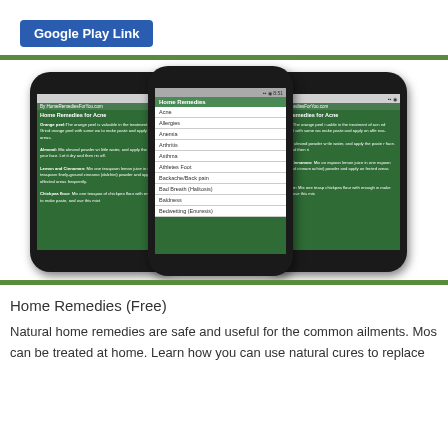[Figure (screenshot): Google Play Link button — blue rounded rectangle with white bold text]
[Figure (screenshot): Three Android smartphones displaying a Home Remedies app. Left and right phones show article text about home remedies for acne (orange peel, almond, lemon and cinnamon, chickpea flour). Center phone shows a list menu with items: Acne, Allergies, Anemia, Arthritis, Asthma, Athletes Foot, Backache/Back pain, Bad Breath (Halitosis), Baldness, Bedwetting (Enuresis).]
Home Remedies (Free)
Natural home remedies are safe and useful for the common ailments. Mos can be treated at home. Learn how you can use natural cures to replace...